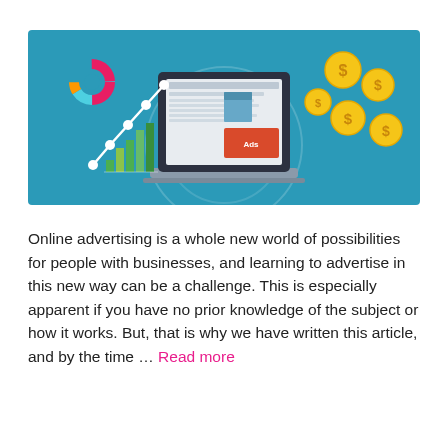[Figure (illustration): Illustration on teal/blue background showing a laptop computer displaying a webpage with ad content, flanked by a line chart with bar chart on the left and gold dollar-sign coins floating on the right, representing online advertising.]
Online advertising is a whole new world of possibilities for people with businesses, and learning to advertise in this new way can be a challenge. This is especially apparent if you have no prior knowledge of the subject or how it works. But, that is why we have written this article, and by the time … Read more